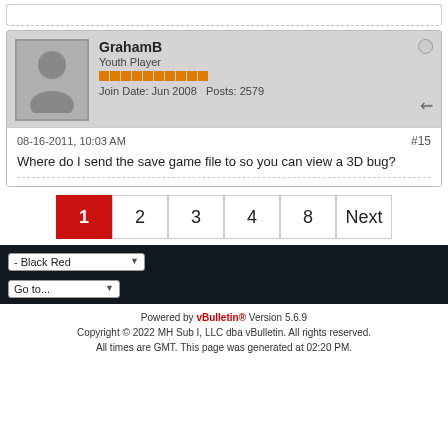GrahamB
Youth Player
Join Date: Jun 2008  Posts: 2579
08-16-2011, 10:03 AM
#15
Where do I send the save game file to so you can view a 3D bug?
1
2
3
4
8
Next
- Black Red
Go to...
Powered by vBulletin® Version 5.6.9
Copyright © 2022 MH Sub I, LLC dba vBulletin. All rights reserved.
All times are GMT. This page was generated at 02:20 PM.